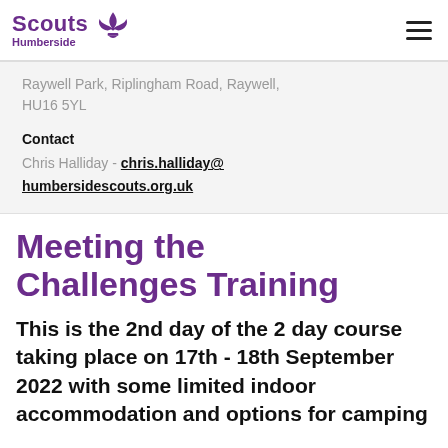Scouts Humberside
Raywell Park, Riplingham Road, Raywell, HU16 5YL
Contact
Chris Halliday - chris.halliday@humbersidescouts.org.uk
Meeting the Challenges Training
This is the 2nd day of the 2 day course taking place on 17th - 18th September 2022 with some limited indoor accommodation and options for camping